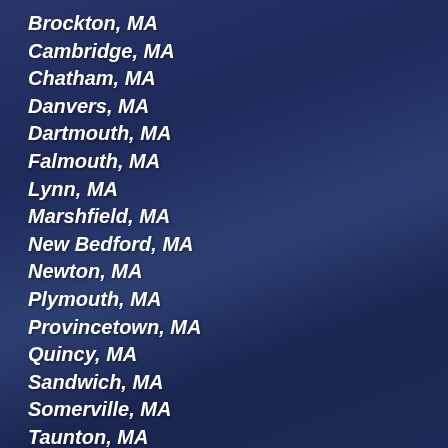Brockton, MA
Cambridge, MA
Chatham, MA
Danvers, MA
Dartmouth, MA
Falmouth, MA
Lynn, MA
Marshfield, MA
New Bedford, MA
Newton, MA
Plymouth, MA
Provincetown, MA
Quincy, MA
Sandwich, MA
Somerville, MA
Taunton, MA
Wareham, MA
Weymouth, MA